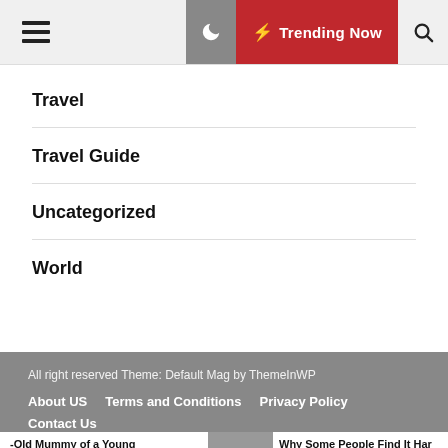☰  🌙  ⚡ Trending Now  🔍
Travel
Travel Guide
Uncategorized
World
All right reserved Theme: Default Mag by ThemeInWP
About US   Terms and Conditions   Privacy Policy   Contact Us
-Old Mummy of a Young
/ith Rope Discovered in...   Why Some People Find It Har
Be Happy, According to Scien